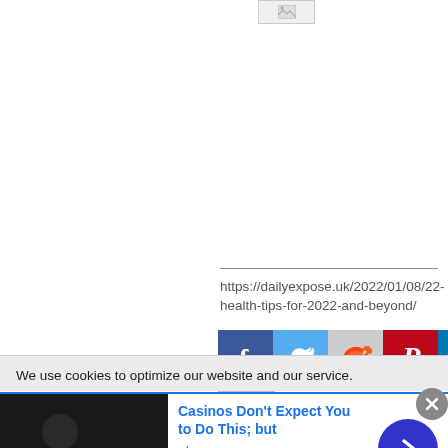[Figure (other): Broken image placeholder icon at top of page]
https://dailyexpose.uk/2022/01/08/22-health-tips-for-2022-and-beyond/
[Figure (other): Social media sharing icons row: Facebook, Twitter, Reddit, Pinterest, LinkedIn, and Email]
We use cookies to optimize our website and our service.
Casinos Don't Expect You to Do This; but
n/a